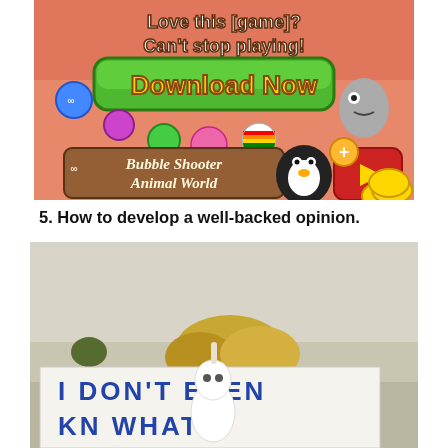[Figure (illustration): Mobile game advertisement banner for 'Bubble Shooter Animal World' showing colorful bubbles, a penguin mascot, a green Download Now button, and text 'Love this [game]? Can't stop playing!' with a red video play button and golden coins.]
5. How to develop a well-backed opinion.
[Figure (photo): Outdoor photo of a person in a white ghost-like costume standing in front of a large white sign with blue hand-painted text reading 'I DON'T EVEN KN[OW] WHAT'. Yellow bushes and trees visible in the background.]